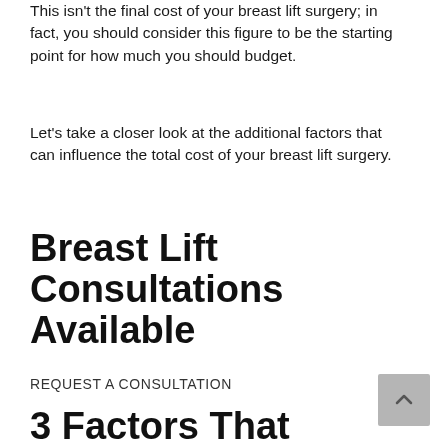This isn't the final cost of your breast lift surgery; in fact, you should consider this figure to be the starting point for how much you should budget.
Let's take a closer look at the additional factors that can influence the total cost of your breast lift surgery.
Breast Lift Consultations Available
REQUEST A CONSULTATION
3 Factors That